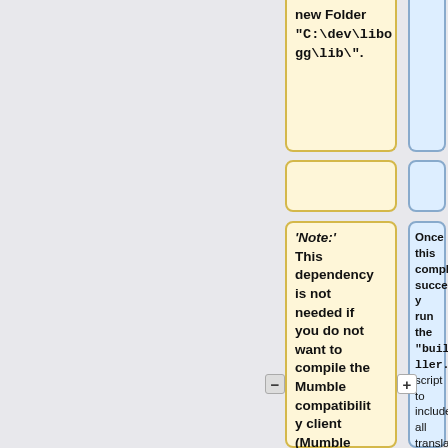new Folder "C:\dev\libogg\lib\".
"'Note:'" This dependency is not needed if you do not want to compile the Mumble compatibility client (Mumble 1.1.x). The Mumble compatibility client can be disabled by passing
Once this completed successfully run the "build_installer.pl" script to include all translations into your installer.